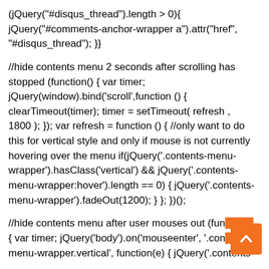(jQuery("#disqus_thread").length > 0){ jQuery("#comments-anchor-wrapper a").attr("href", "#disqus_thread"); }}
//hide contents menu 2 seconds after scrolling has stopped (function() { var timer; jQuery(window).bind('scroll',function () { clearTimeout(timer); timer = setTimeout( refresh , 1800 ); }); var refresh = function () { //only want to do this for vertical style and only if mouse is not currently hovering over the menu if(jQuery('.contents-menu-wrapper').hasClass('vertical') && jQuery('.contents-menu-wrapper:hover').length == 0) { jQuery('.contents-menu-wrapper').fadeOut(1200); } }; })();
//hide contents menu after user mouses out (function () { var timer; jQuery('body').on('mouseenter', '.contents-menu-wrapper.vertical', function(e) { jQuery('.contents-